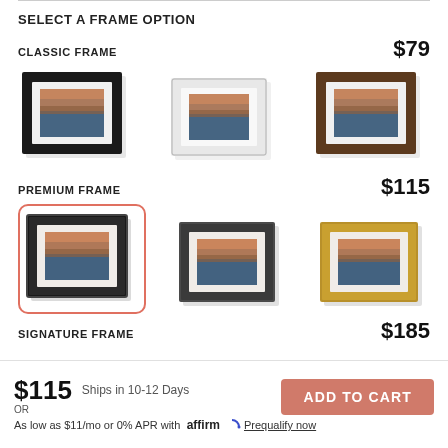SELECT A FRAME OPTION
CLASSIC FRAME   $79
[Figure (illustration): Three classic frame options for a landscape photo: black frame (left), white frame (center), brown/walnut frame (right)]
PREMIUM FRAME   $115
[Figure (illustration): Three premium frame options for a landscape photo: dark/black frame with salmon/coral selection border (left, selected), dark grey frame (center), gold frame (right)]
SIGNATURE FRAME   $185
$115   Ships in 10-12 Days   ADD TO CART
OR
As low as $11/mo or 0% APR with affirm Prequalify now